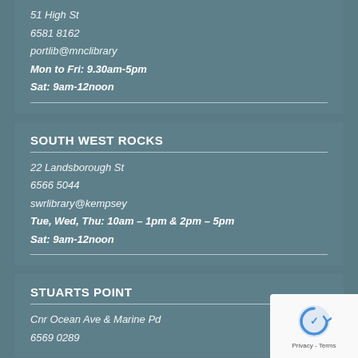51 High St
6581 8162
portlib@mnclibrary
Mon to Fri: 9.30am-5pm
Sat: 9am-12noon
SOUTH WEST ROCKS
22 Landsborough St
6566 5044
swrlibrary@kempsey
Tue, Wed, Thu: 10am – 1pm & 2pm – 5pm
Sat: 9am-12noon
STUARTS POINT
Cnr Ocean Ave & Marine Pd
6569 0289